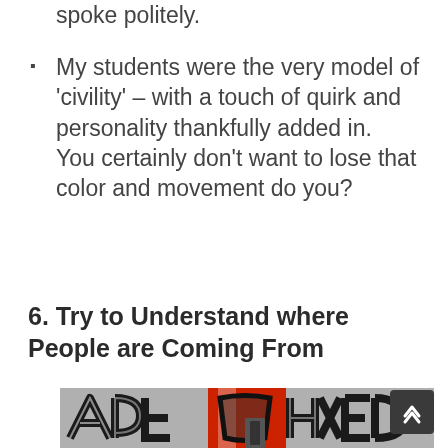spoke politely.
My students were the very model of 'civility' – with a touch of quirk and personality thankfully added in. You certainly don't want to lose that color and movement do you?
6. Try to Understand where People are Coming From
[Figure (photo): A photograph of graffiti art on a building facade, showing large stylized letters in black and white with red background elements visible through the center.]